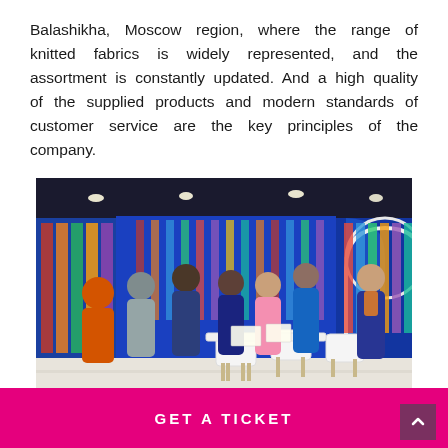Balashikha, Moscow region, where the range of knitted fabrics is widely represented, and the assortment is constantly updated. And a high quality of the supplied products and modern standards of customer service are the key principles of the company.
[Figure (photo): Interior of a fabric/textile showroom with blue walls, colorful fabric rolls hung on display, multiple people browsing and consulting staff, white chairs and a table in the foreground.]
GET A TICKET